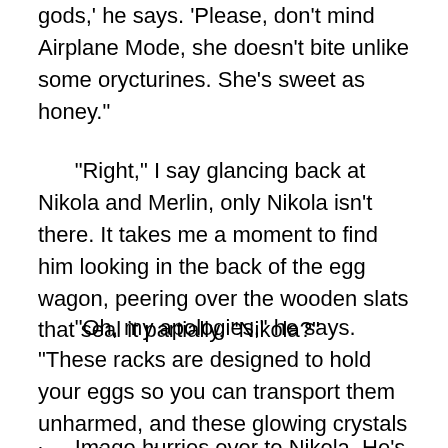gods,' he says. 'Please, don't mind Airplane Mode, she doesn't bite unlike some orycturines. She's sweet as honey."
"Right," I say glancing back at Nikola and Merlin, only Nikola isn't there. It takes me a moment to find him looking in the back of the egg wagon, peering over the wooden slats that seal it partially. "Nikola?"
"Oh, my apologies," he says. "These racks are designed to hold your eggs so you can transport them unharmed, and these glowing crystals keep them the proper temperature?"
Image hurries over to Nikola. He's